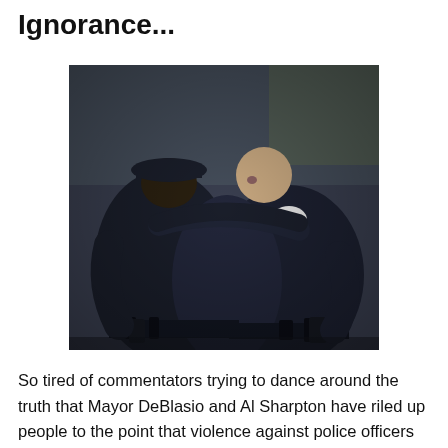Ignorance...
[Figure (photo): Three police officers in dark uniforms embracing each other in a group hug. One officer wears a police hat. One officer appears to be crying. Officers have duty belts with equipment. Blurred outdoor background.]
So tired of commentators trying to dance around the truth that Mayor DeBlasio and Al Sharpton have riled up people to the point that violence against police officers is